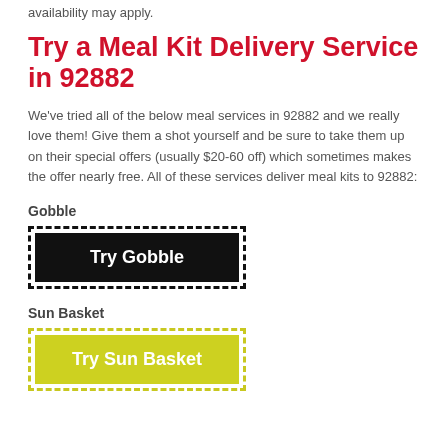availability may apply.
Try a Meal Kit Delivery Service in 92882
We've tried all of the below meal services in 92882 and we really love them! Give them a shot yourself and be sure to take them up on their special offers (usually $20-60 off) which sometimes makes the offer nearly free. All of these services deliver meal kits to 92882:
Gobble
[Figure (other): Black dashed border button with text 'Try Gobble' on black background]
Sun Basket
[Figure (other): Yellow dashed border button with text 'Try Sun Basket' on yellow-green background]